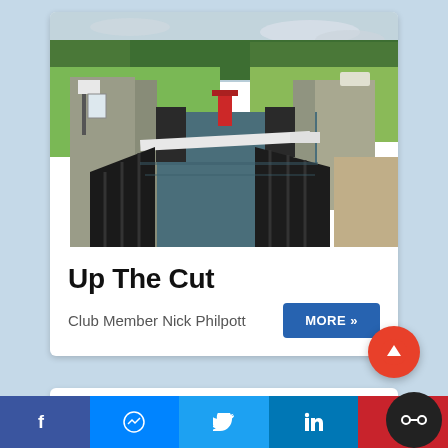[Figure (photo): Photograph of a canal lock with wooden lock gates in the foreground, brick lock walls on either side, and green fields and trees in the background under an overcast sky. A red lock gate mechanism is visible mid-distance.]
Up The Cut
Club Member Nick Philpott
MORE »  [social share bar: Facebook, Messenger, Twitter, LinkedIn, Pinterest]